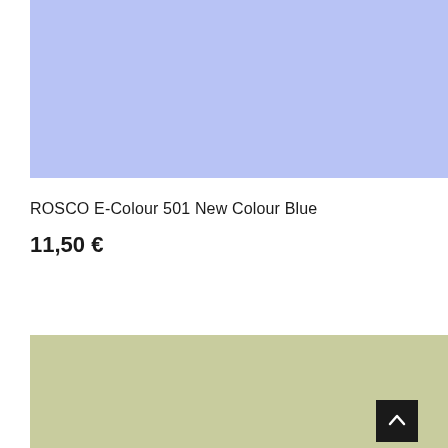[Figure (illustration): Light periwinkle blue color swatch rectangle]
ROSCO E-Colour 501 New Colour Blue
11,50 €
[Figure (illustration): Light sage green color swatch rectangle with a dark scroll-to-top button at bottom right]